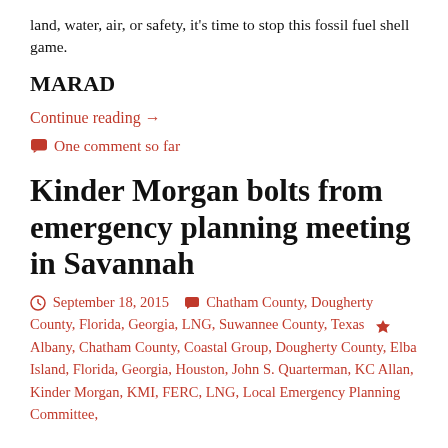land, water, air, or safety, it’s time to stop this fossil fuel shell game.
MARAD
Continue reading →
One comment so far
Kinder Morgan bolts from emergency planning meeting in Savannah
September 18, 2015  Chatham County, Dougherty County, Florida, Georgia, LNG, Suwannee County, Texas  Albany, Chatham County, Coastal Group, Dougherty County, Elba Island, Florida, Georgia, Houston, John S. Quarterman, KC Allan, Kinder Morgan, KMI, FERC, LNG, Local Emergency Planning Committee,